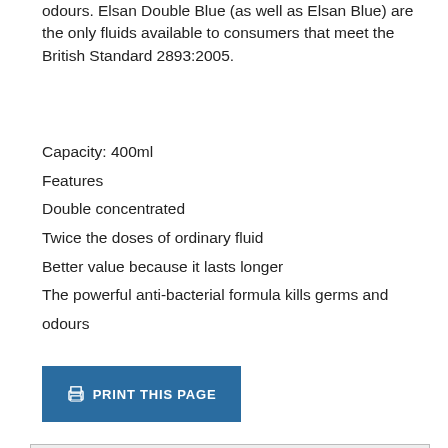odours. Elsan Double Blue (as well as Elsan Blue) are the only fluids available to consumers that meet the British Standard 2893:2005.
Capacity: 400ml
Features
Double concentrated
Twice the doses of ordinary fluid
Better value because it lasts longer
The powerful anti-bacterial formula kills germs and odours
[Figure (other): Blue button labeled PRINT THIS PAGE with a printer icon]
[Figure (screenshot): Gallery section showing ELSAN DOUBLE BLUE TOILET CHEMICAL 400ML GALLERY with a cookie consent overlay and a partial product image of a blue cylindrical container. A blue scroll-to-top button with an upward arrow is visible.]